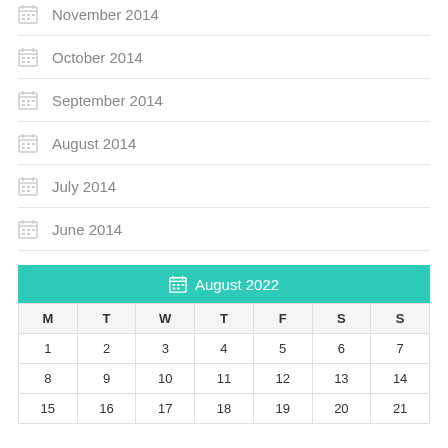November 2014
October 2014
September 2014
August 2014
July 2014
June 2014
| M | T | W | T | F | S | S |
| --- | --- | --- | --- | --- | --- | --- |
| 1 | 2 | 3 | 4 | 5 | 6 | 7 |
| 8 | 9 | 10 | 11 | 12 | 13 | 14 |
| 15 | 16 | 17 | 18 | 19 | 20 | 21 |